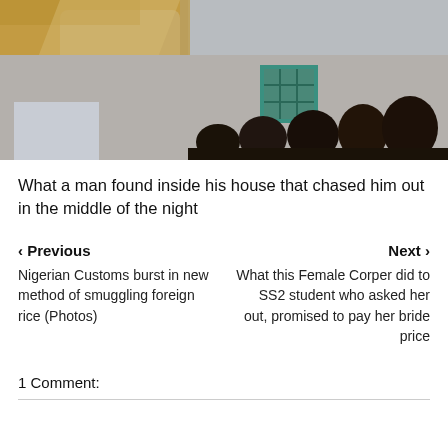[Figure (photo): Photo showing people crowded near a building wall with a teal-colored window with a grid pattern. The upper portion shows thatched/textured materials.]
What a man found inside his house that chased him out in the middle of the night
< Previous
Nigerian Customs burst in new method of smuggling foreign rice (Photos)
Next >
What this Female Corper did to SS2 student who asked her out, promised to pay her bride price
1 Comment: